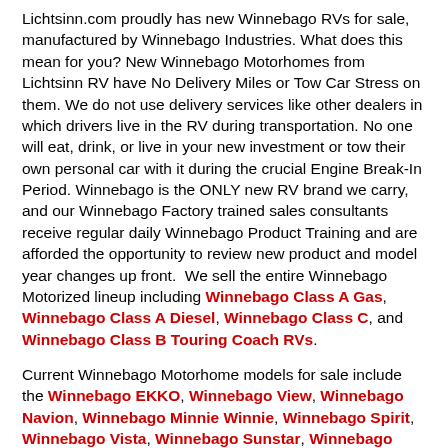Lichtsinn.com proudly has new Winnebago RVs for sale, manufactured by Winnebago Industries. What does this mean for you? New Winnebago Motorhomes from Lichtsinn RV have No Delivery Miles or Tow Car Stress on them. We do not use delivery services like other dealers in which drivers live in the RV during transportation. No one will eat, drink, or live in your new investment or tow their own personal car with it during the crucial Engine Break-In Period. Winnebago is the ONLY new RV brand we carry, and our Winnebago Factory trained sales consultants receive regular daily Winnebago Product Training and are afforded the opportunity to review new product and model year changes up front. We sell the entire Winnebago Motorized lineup including Winnebago Class A Gas, Winnebago Class A Diesel, Winnebago Class C, and Winnebago Class B Touring Coach RVs.
Current Winnebago Motorhome models for sale include the Winnebago EKKO, Winnebago View, Winnebago Navion, Winnebago Minnie Winnie, Winnebago Spirit, Winnebago Vista, Winnebago Sunstar, Winnebago Adventurer,